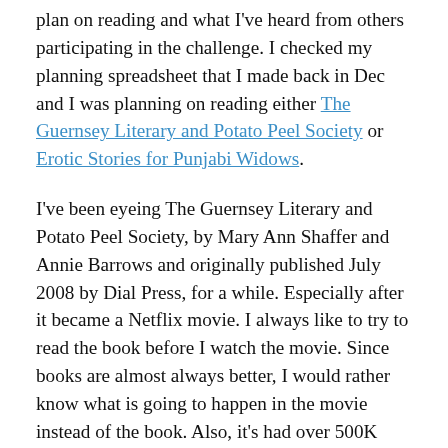plan on reading and what I've heard from others participating in the challenge. I checked my planning spreadsheet that I made back in Dec and I was planning on reading either The Guernsey Literary and Potato Peel Society or Erotic Stories for Punjabi Widows.
I've been eyeing The Guernsey Literary and Potato Peel Society, by Mary Ann Shaffer and Annie Barrows and originally published July 2008 by Dial Press, for a while. Especially after it became a Netflix movie. I always like to try to read the book before I watch the movie. Since books are almost always better, I would rather know what is going to happen in the movie instead of the book. Also, it's had over 500K ratings on Goodreads and is rated over 4 stars. All but one of my major reader friends absolutely loved this book when they